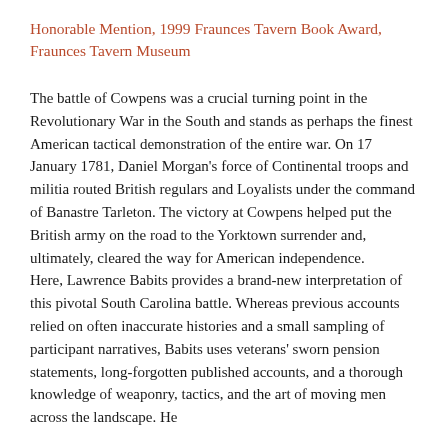Honorable Mention, 1999 Fraunces Tavern Book Award, Fraunces Tavern Museum
The battle of Cowpens was a crucial turning point in the Revolutionary War in the South and stands as perhaps the finest American tactical demonstration of the entire war. On 17 January 1781, Daniel Morgan's force of Continental troops and militia routed British regulars and Loyalists under the command of Banastre Tarleton. The victory at Cowpens helped put the British army on the road to the Yorktown surrender and, ultimately, cleared the way for American independence. Here, Lawrence Babits provides a brand-new interpretation of this pivotal South Carolina battle. Whereas previous accounts relied on often inaccurate histories and a small sampling of participant narratives, Babits uses veterans' sworn pension statements, long-forgotten published accounts, and a thorough knowledge of weaponry, tactics, and the art of moving men across the landscape. He